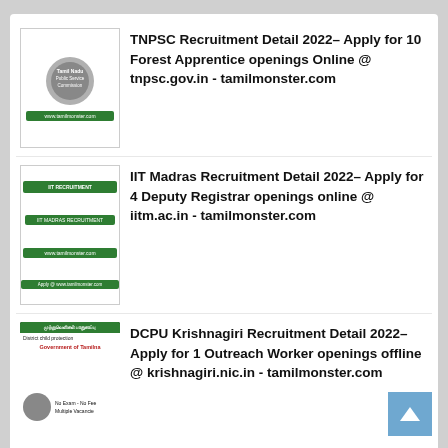TNPSC Recruitment Detail 2022– Apply for 10 Forest Apprentice openings Online @ tnpsc.gov.in - tamilmonster.com
IIT Madras Recruitment Detail 2022– Apply for 4 Deputy Registrar openings online @ iitm.ac.in - tamilmonster.com
DCPU Krishnagiri Recruitment Detail 2022– Apply for 1 Outreach Worker openings offline @ krishnagiri.nic.in - tamilmonster.com